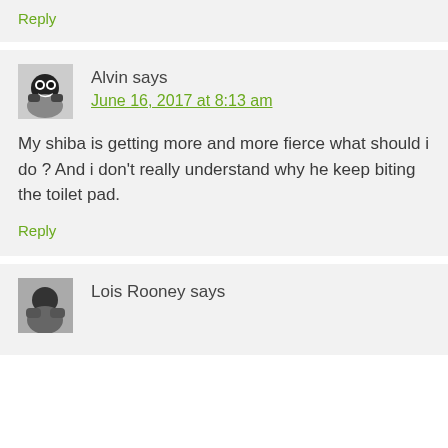Reply
Alvin says
June 16, 2017 at 8:13 am
My shiba is getting more and more fierce what should i do ? And i don't really understand why he keep biting the toilet pad.
Reply
Lois Rooney says